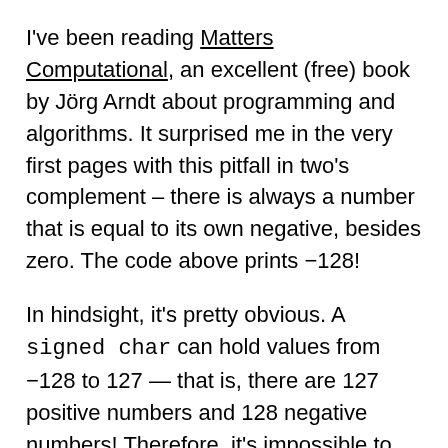I've been reading Matters Computational, an excellent (free) book by Jörg Arndt about programming and algorithms. It surprised me in the very first pages with this pitfall in two's complement – there is always a number that is equal to its own negative, besides zero. The code above prints −128!
In hindsight, it's pretty obvious. A signed char can hold values from −128 to 127 — that is, there are 127 positive numbers and 128 negative numbers! Therefore, it's impossible to the unary negative operator to be one-to-one.